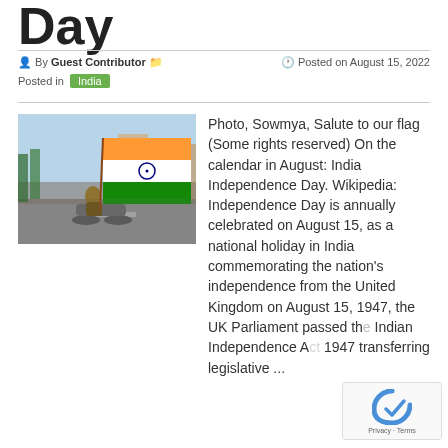Day
By Guest Contributor   Posted on August 15, 2022
Posted in India
[Figure (photo): Person riding a motorcycle waving a large Indian tricolor flag on a street, crowd in background]
Photo, Sowmya, Salute to our flag (Some rights reserved) On the calendar in August: India Independence Day. Wikipedia: Independence Day is annually celebrated on August 15, as a national holiday in India commemorating the nation's independence from the United Kingdom on August 15, 1947, the UK Parliament passed the Indian Independence ... 1947 transferring legislative ...